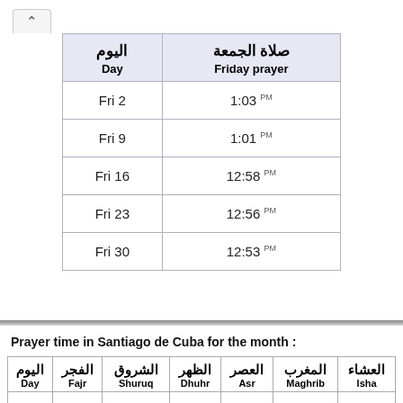| اليوم
Day | صلاة الجمعة
Friday prayer |
| --- | --- |
| Fri 2 | 1:03 PM |
| Fri 9 | 1:01 PM |
| Fri 16 | 12:58 PM |
| Fri 23 | 12:56 PM |
| Fri 30 | 12:53 PM |
Prayer time in Santiago de Cuba for the month :
| اليوم
Day | الفجر
Fajr | الشروق
Shuruq | الظهر
Dhuhr | العصر
Asr | المغرب
Maghrib | العشاء
Isha |
| --- | --- | --- | --- | --- | --- | --- |